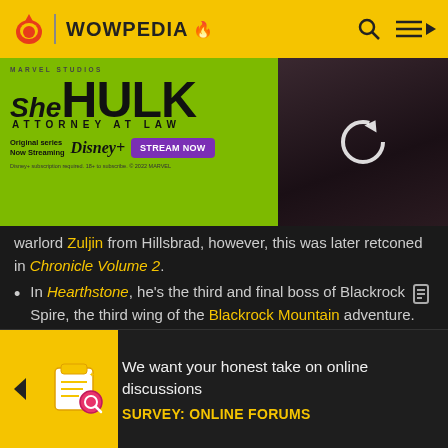WOWPEDIA
[Figure (infographic): She-Hulk Attorney at Law Marvel Studios Disney+ advertisement banner with Stream Now button. Shows actress on right side with a loading/refresh icon overlay.]
warlord Zuljin from Hillsbrad, however, this was later retconed in Chronicle Volume 2.
In Hearthstone, he's the third and final boss of Blackrock Spire, the third wing of the Blackrock Mountain adventure. Defeating him rewards him as a legendary card. His flavor text reads: "Rend believes he is the True Warchief of the Horde and he keeps
[Figure (infographic): Survey banner: We want your honest take on online discussions. SURVEY: ONLINE FORUMS]